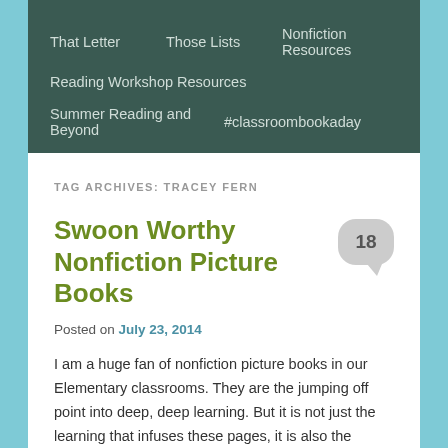That Letter   Those Lists   Nonfiction Resources
Reading Workshop Resources
Summer Reading and Beyond   #classroombookaday
TAG ARCHIVES: TRACEY FERN
Swoon Worthy Nonfiction Picture Books
Posted on July 23, 2014
I am a huge fan of nonfiction picture books in our Elementary classrooms. They are the jumping off point into deep, deep learning. But it is not just the learning that infuses these pages, it is also the beauty of the images that helps lure readers in.